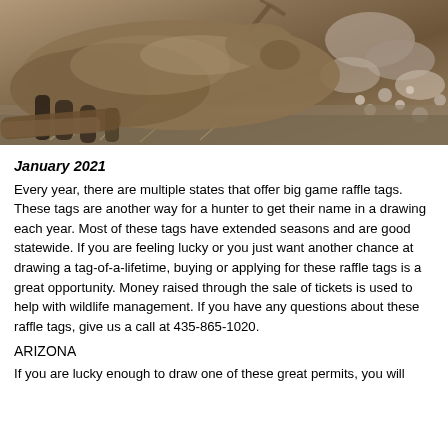[Figure (photo): Close-up photograph of a large elk or deer lying on rocky ground, showing fur, legs, and rocky terrain in the background.]
January 2021
Every year, there are multiple states that offer big game raffle tags. These tags are another way for a hunter to get their name in a drawing each year. Most of these tags have extended seasons and are good statewide. If you are feeling lucky or you just want another chance at drawing a tag-of-a-lifetime, buying or applying for these raffle tags is a great opportunity. Money raised through the sale of tickets is used to help with wildlife management. If you have any questions about these raffle tags, give us a call at 435-865-1020.
ARIZONA
If you are lucky enough to draw one of these great permits, you will